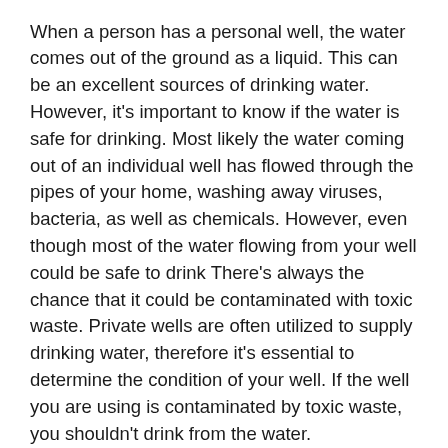When a person has a personal well, the water comes out of the ground as a liquid. This can be an excellent sources of drinking water. However, it's important to know if the water is safe for drinking. Most likely the water coming out of an individual well has flowed through the pipes of your home, washing away viruses, bacteria, as well as chemicals. However, even though most of the water flowing from your well could be safe to drink There's always the chance that it could be contaminated with toxic waste. Private wells are often utilized to supply drinking water, therefore it's essential to determine the condition of your well. If the well you are using is contaminated by toxic waste, you shouldn't drink from the water.
How do you know whether your water has been affected by polluted waste? It has an unusual smell to the water. There are signs of contaminination, such as algae, tell-tale balls or other contaminants in the water. – You see a high number of mosquitoes and other bugs that have